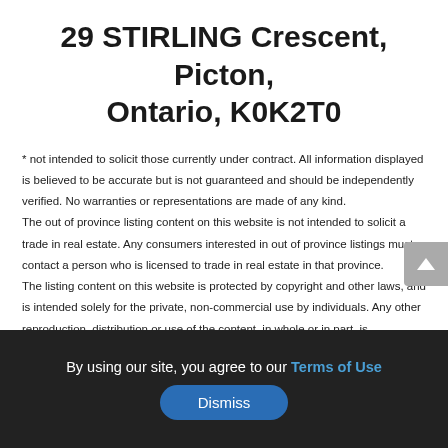29 STIRLING Crescent, Picton, Ontario, K0K2T0
* not intended to solicit those currently under contract. All information displayed is believed to be accurate but is not guaranteed and should be independently verified. No warranties or representations are made of any kind. The out of province listing content on this website is not intended to solicit a trade in real estate. Any consumers interested in out of province listings must contact a person who is licensed to trade in real estate in that province. The listing content on this website is protected by copyright and other laws, and is intended solely for the private, non-commercial use by individuals. Any other reproduction, distribution or use of the content, in whole or in part, is specifically forbidden. The prohibited uses include commercial use, "screen scraping", "database scraping", and any other activity intended to collect, store, reorganize
By using our site, you agree to our Terms of Use
Dismiss